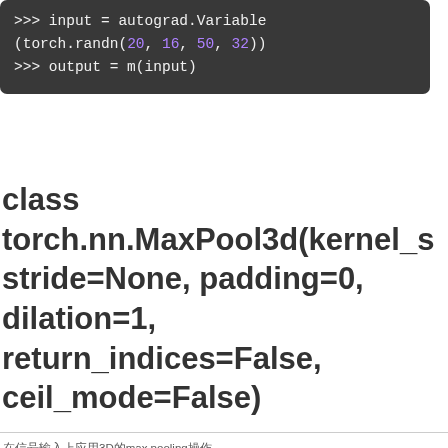[Figure (screenshot): Dark-themed code block showing Python code: input = autograd.Variable(torch.randn(20, 16, 50, 32)) and output = m(input)]
class torch.nn.MaxPool3d(kernel_s stride=None, padding=0, dilation=1, return_indices=False, ceil_mode=False)
在信号输入上应用3D的max pooling操作
输入信号的尺寸(N,C,D,H,W)，输出尺寸为(N,C,D_out,H_out,W_out)，pooling核的大小为(kD,kH,kW)，则